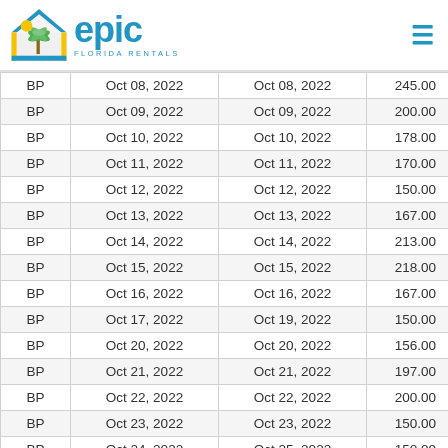Epic Florida Rentals
|  |  |  |  |
| --- | --- | --- | --- |
| BP | Oct 08, 2022 | Oct 08, 2022 | 245.00 |
| BP | Oct 09, 2022 | Oct 09, 2022 | 200.00 |
| BP | Oct 10, 2022 | Oct 10, 2022 | 178.00 |
| BP | Oct 11, 2022 | Oct 11, 2022 | 170.00 |
| BP | Oct 12, 2022 | Oct 12, 2022 | 150.00 |
| BP | Oct 13, 2022 | Oct 13, 2022 | 167.00 |
| BP | Oct 14, 2022 | Oct 14, 2022 | 213.00 |
| BP | Oct 15, 2022 | Oct 15, 2022 | 218.00 |
| BP | Oct 16, 2022 | Oct 16, 2022 | 167.00 |
| BP | Oct 17, 2022 | Oct 19, 2022 | 150.00 |
| BP | Oct 20, 2022 | Oct 20, 2022 | 156.00 |
| BP | Oct 21, 2022 | Oct 21, 2022 | 197.00 |
| BP | Oct 22, 2022 | Oct 22, 2022 | 200.00 |
| BP | Oct 23, 2022 | Oct 23, 2022 | 150.00 |
| BP | Oct 24, 2022 | Oct 25, 2022 | 150.00 |
| BP | Oct 26, 2022 | Oct 26, 2022 | 150.00 |